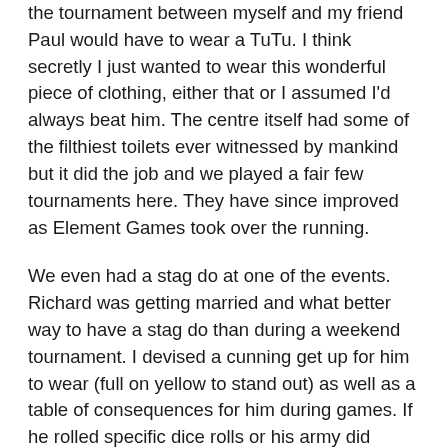the tournament between myself and my friend Paul would have to wear a TuTu. I think secretly I just wanted to wear this wonderful piece of clothing, either that or I assumed I'd always beat him. The centre itself had some of the filthiest toilets ever witnessed by mankind but it did the job and we played a fair few tournaments here. They have since improved as Element Games took over the running.
We even had a stag do at one of the events. Richard was getting married and what better way to have a stag do than during a weekend tournament. I devised a cunning get up for him to wear (full on yellow to stand out) as well as a table of consequences for him during games. If he rolled specific dice rolls or his army did certain things he would have to drink shots supplied by Paul. His early games started off very slowly and he began to show off that he didn't have to drink. Things changed however and by 6pm he was in bed. He didn't stay there for to long as